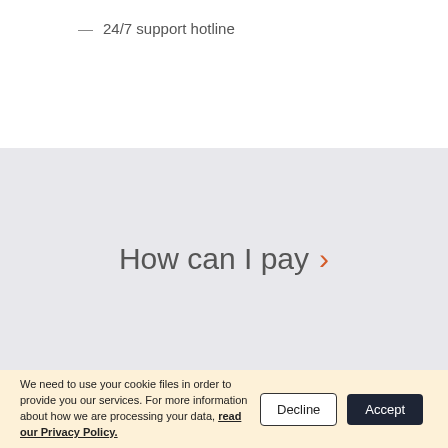— 24/7 support hotline
How can I pay ›
We need to use your cookie files in order to provide you our services. For more information about how we are processing your data, read our Privacy Policy.